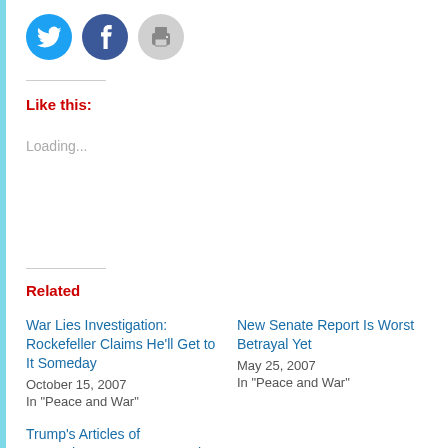[Figure (other): Social sharing icons: Twitter (blue circle), Facebook (blue circle), Print (gray circle)]
Like this:
Loading...
Related
War Lies Investigation: Rockefeller Claims He'll Get to It Someday
October 15, 2007
In "Peace and War"
New Senate Report Is Worst Betrayal Yet
May 25, 2007
In "Peace and War"
Trump's Articles of Impeachment: A Greatest Hits Collection
August 23, 2017
In "antiwar"